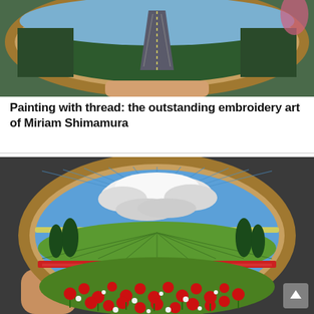[Figure (photo): Embroidery hoop held by a hand showing a winding highway road surrounded by green trees, photographically realistic embroidery art by Miriam Shimamura]
Painting with thread: the outstanding embroidery art of Miriam Shimamura
[Figure (photo): Embroidery hoop held showing a detailed landscape scene with dramatic cloudy sky, green fields with cypress trees, and red poppy flowers in the foreground, thread art by Miriam Shimamura]